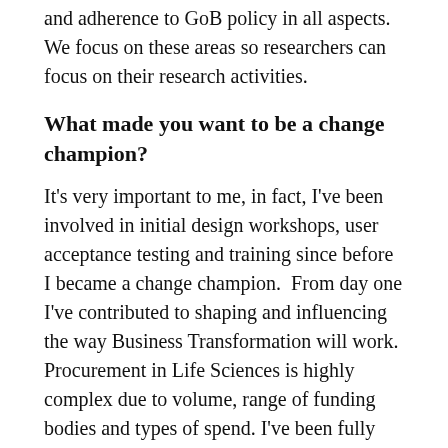and adherence to GoB policy in all aspects. We focus on these areas so researchers can focus on their research activities.
What made you want to be a change champion?
It's very important to me, in fact, I've been involved in initial design workshops, user acceptance testing and training since before I became a change champion.  From day one I've contributed to shaping and influencing the way Business Transformation will work. Procurement in Life Sciences is highly complex due to volume, range of funding bodies and types of spend. I've been fully involved to make sure the system can meet the procurement